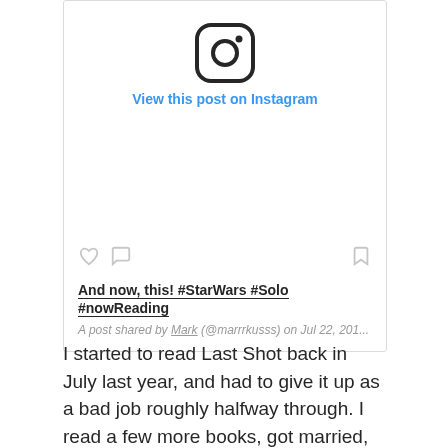[Figure (screenshot): Instagram embedded post card with Instagram logo icon at top, 'View this post on Instagram' link in blue, action icons (heart, comment, bookmark), post caption text 'And now, this! #StarWars #Solo #nowReading', and attribution line 'A post shared by Mark (@marrrkusss) on Jul 22, 201...']
I started to read Last Shot back in July last year, and had to give it up as a bad job roughly halfway through. I read a few more books, got married, and then came